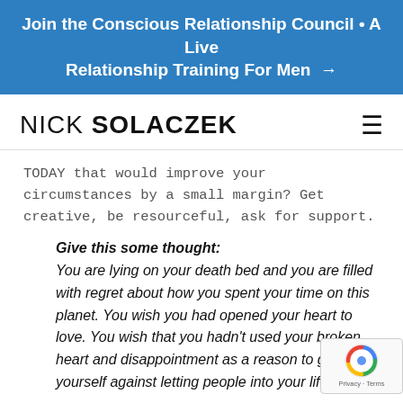Join the Conscious Relationship Council • A Live Relationship Training For Men →
NICK SOLACZEK
TODAY that would improve your circumstances by a small margin? Get creative, be resourceful, ask for support.
Give this some thought: You are lying on your death bed and you are filled with regret about how you spent your time on this planet. You wish you had opened your heart to love. You wish that you hadn't used your broken heart and disappointment as a reason to guard yourself against letting people into your life.